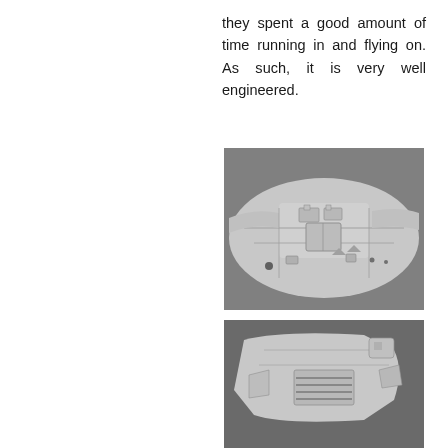they spent a good amount of time running in and flying on. As such, it is very well engineered.
[Figure (photo): Close-up photograph of the underside of a grey plastic model aircraft kit, showing wing and fuselage parts laid on a grey surface. Various panel lines, mounting points, and structural details are visible.]
[Figure (photo): Partial close-up photograph of a grey plastic model aircraft fuselage component showing detailed panel lines and vents, partially cropped at the bottom of the page.]